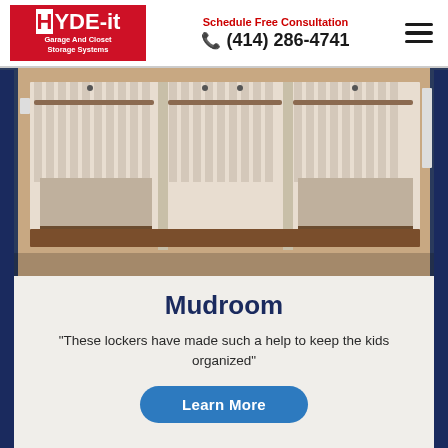[Figure (logo): HYDE-it Garage And Closet Storage Systems logo with red background and white text]
Schedule Free Consultation
(414) 286-4741
[Figure (photo): Photo of a white built-in mudroom locker system with hanging rods and lower shelves, wood bench at the bottom]
Mudroom
"These lockers have made such a help to keep the kids organized"
Learn More